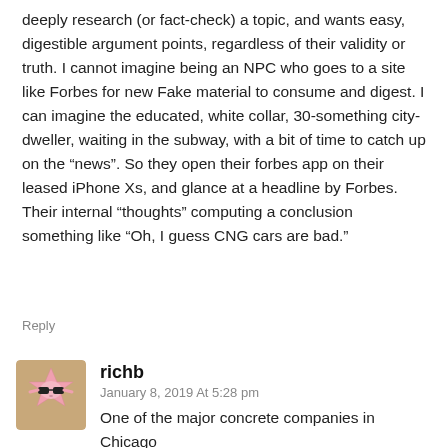deeply research (or fact-check) a topic, and wants easy, digestible argument points, regardless of their validity or truth. I cannot imagine being an NPC who goes to a site like Forbes for new Fake material to consume and digest. I can imagine the educated, white collar, 30-something city-dweller, waiting in the subway, with a bit of time to catch up on the “news”. So they open their forbes app on their leased iPhone Xs, and glance at a headline by Forbes. Their internal “thoughts” computing a conclusion something like “Oh, I guess CNG cars are bad.”
Reply
[Figure (illustration): Pink cartoon star character with sunglasses avatar icon]
richb
January 8, 2019 At 5:28 pm
One of the major concrete companies in Chicago